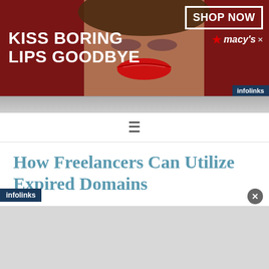[Figure (screenshot): Macy's advertisement banner: dark red background with woman's face/lips in center, bold white text 'KISS BORING LIPS GOODBYE' on left, 'SHOP NOW' button and Macy's logo on right, 'infolinks' badge at bottom right]
[Figure (other): Hamburger menu icon (three horizontal lines) centered in white navigation bar]
How Freelancers Can Utilize Expired Domains
OCTOBER 3, 2019 BY FWJ — LEAVE A COMMENT
In this era of super-fast internet, information is available all around, and every piece of data is